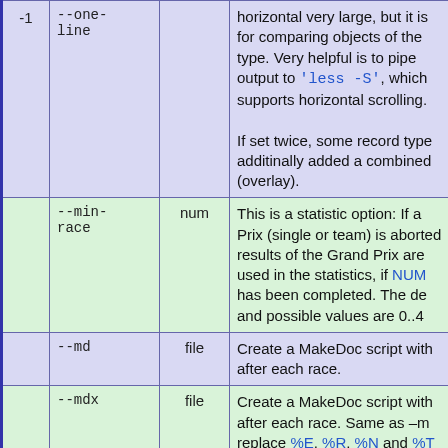|  | Option | Arg | Description |
| --- | --- | --- | --- |
| -1 | --one-line |  | horizontal very large, but it is for comparing objects of the type. Very helpful is to pipe output to 'less -S', which supports horizontal scrolling. If set twice, some record type additinally added a combined (overlay). |
|  | --min-race | num | This is a statistic option: If a Prix (single or team) is aborted results of the Grand Prix are used in the statistics, if NUM has been completed. The de and possible values are 0..4 |
|  | --md | file | Create a MakeDoc script with after each race. |
|  | --mdx | file | Create a MakeDoc script with after each race. Same as -m replace %E, %R, %N and %T in filename by 'event id', 'race id', race' and 'event type' to create different files. |